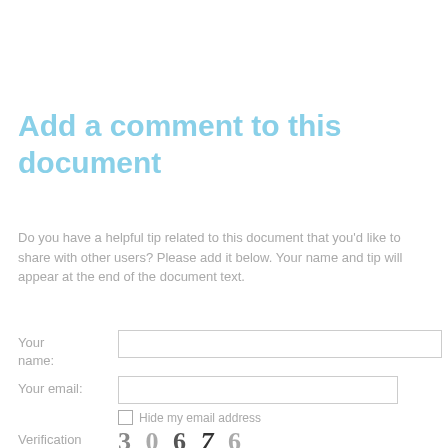Add a comment to this document
Do you have a helpful tip related to this document that you'd like to share with other users? Please add it below. Your name and tip will appear at the end of the document text.
Your name: [input field]
Your email: [input field]
Hide my email address [checkbox]
Verification code: 3 0 6 7 6 [input field]